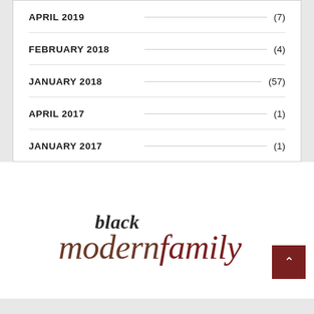APRIL 2019 (7)
FEBRUARY 2018 (4)
JANUARY 2018 (57)
APRIL 2017 (1)
JANUARY 2017 (1)
[Figure (logo): Modern Black Family blog logo — 'black' in dark cursive above, 'modern' in brown serif italic and 'family' in dark red serif italic below]